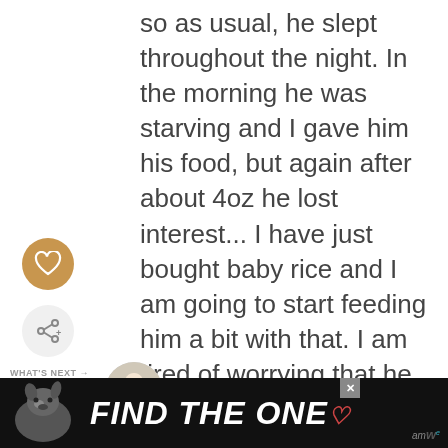so as usual, he slept throughout the night. In the morning he was starving and I gave him his food, but again after about 4oz he lost interest... I have just bought baby rice and I am going to start feeding him a bit with that. I am tired of worrying that he does not eat much... He is very
[Figure (illustration): Heart/like button (orange circle with white heart icon)]
[Figure (illustration): Share button (light gray circle with share icon)]
[Figure (photo): Thumbnail photo of baby for 'What's Next' section]
WHAT'S NEXT → My 4-Month-Old Baby...
[Figure (illustration): Advertisement banner: black background with dog photo and bold italic text 'FIND THE ONE' with heart symbol, close button X]